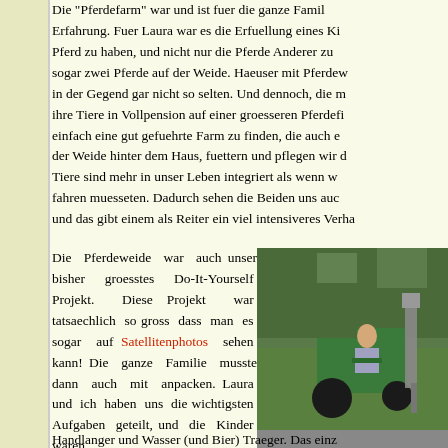Die "Pferdefarm" war und ist fuer die ganze Famil... Erfahrung. Fuer Laura war es die Erfuellung eines Ki... Pferd zu haben, und nicht nur die Pferde Anderer zu... sogar zwei Pferde auf der Weide. Haeuser mit Pferdew... in der Gegend gar nicht so selten. Und dennoch, die m... ihre Tiere in Vollpension auf einer groesseren Pferdef... einfach eine gut gefuehrte Farm zu finden, die auch e... der Weide hinter dem Haus, fuettern und pflegen wir d... Tiere sind mehr in unser Leben integriert als wenn w... fahren muesseten. Dadurch sehen die Beiden uns auc... und das gibt einem als Reiter ein viel intensiveres Verha...
Die Pferdeweide war auch unser bisher groesstes Do-It-Yourself Projekt. Diese Projekt war tatsaechlich so gross dass man es sogar auf Satellitenphotos sehen kann! Die ganze Familie musste dann auch mit anpacken. Laura und ich haben uns die wichtigsten Aufgaben geteilt, und die Kinder waren
[Figure (photo): Person sitting on a green tractor in a field with trees in background]
Handlanger und Wasser (und Bier) Traeger. Das einz...